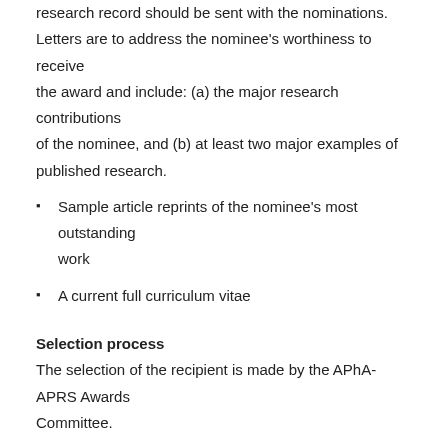research record should be sent with the nominations. Letters are to address the nominee's worthiness to receive the award and include: (a) the major research contributions of the nominee, and (b) at least two major examples of published research.
Sample article reprints of the nominee's most outstanding work
A current full curriculum vitae
Selection process
The selection of the recipient is made by the APhA-APRS Awards Committee.
Nature of award
The award, presented at the APhA Annual Meeting & Exposition, consists of an engraved plaque. The recipient also receives a